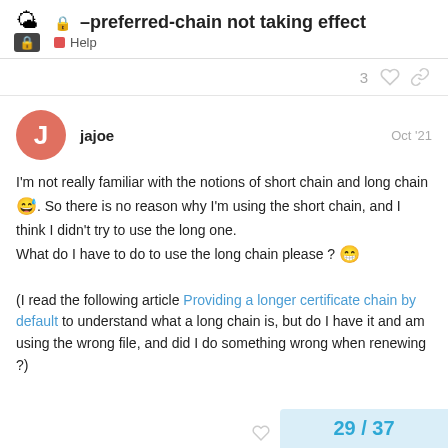–preferred-chain not taking effect | Help
3 ♡ 🔗
jajoe  Oct '21
I'm not really familiar with the notions of short chain and long chain 😅. So there is no reason why I'm using the short chain, and I think I didn't try to use the long one.
What do I have to do to use the long chain please ? 😁

(I read the following article Providing a longer certificate chain by default to understand what a long chain is, but do I have it and am using the wrong file, and did I do something wrong when renewing ?)
29 / 37